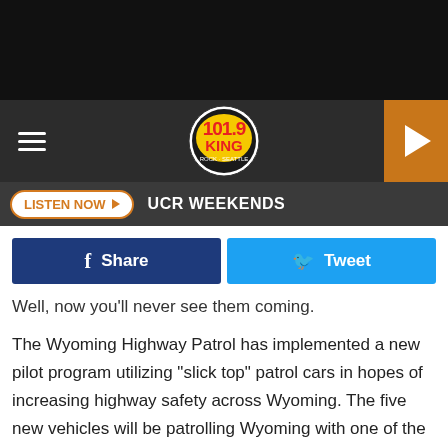[Figure (screenshot): 101.9 KING FM radio station logo — circular badge with yellow and red text]
101.9 KING FM — UCR WEEKENDS — LISTEN NOW
Well, now you'll never see them coming.
The Wyoming Highway Patrol has implemented a new pilot program utilizing "slick top" patrol cars in hopes of increasing highway safety across Wyoming. The five new vehicles will be patrolling Wyoming with one of the cars headed to each of the five WHP districts across the state.
These vehicles don't have the traditional light bar on the roof but rather an array of LED lights across the inside of the